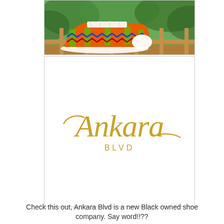[Figure (photo): Photo of colorful Kente cloth patterned high-top sneakers (Converse style) sitting on a wooden railing with green trees in the background. The shoes have orange, green, blue, red, and yellow African Kente fabric pattern with white soles and white laces.]
[Figure (logo): Ankara Blvd brand logo. Cursive gold script text reading 'Ankara' with 'BLVD' in smaller gold spaced uppercase letters centered below, on a white background.]
Check this out, Ankara Blvd is a new Black owned shoe company. Say word!!??